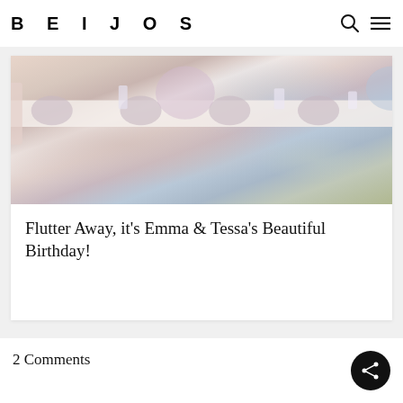BEIJOS
[Figure (photo): Outdoor birthday party table setting with white chairs, lavender/pink plates, floral centerpieces with pink and blue flowers, and candles]
Flutter Away, it’s Emma & Tessa’s Beautiful Birthday!
2 Comments